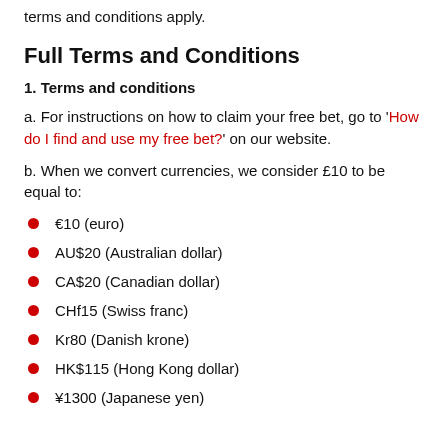terms and conditions apply.
Full Terms and Conditions
1. Terms and conditions
a. For instructions on how to claim your free bet, go to 'How do I find and use my free bet?' on our website.
b. When we convert currencies, we consider £10 to be equal to:
€10 (euro)
AU$20 (Australian dollar)
CA$20 (Canadian dollar)
CHf15 (Swiss franc)
Kr80 (Danish krone)
HK$115 (Hong Kong dollar)
¥1300 (Japanese yen)